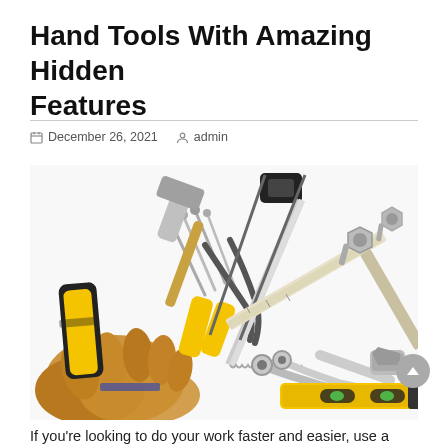Hand Tools With Amazing Hidden Features
December 26, 2021   admin
[Figure (photo): Assorted hand tools laid out on a white background including a hammer, hacksaw, measuring tape, pliers, wrenches, screwdrivers, level, bolts, and work gloves.]
If you're looking to do your work faster and easier, use a